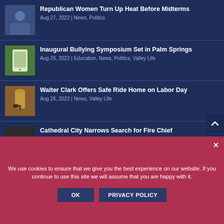Republican Women Turn Up Heat Before Midterms | Aug 27, 2022 | News, Politics
Inaugural Bullying Symposium Set in Palm Springs | Aug 26, 2022 | Education, News, Politics, Valley Life
Walter Clark Offers Safe Ride Home on Labor Day | Aug 26, 2022 | News, Valley Life
Cathedral City Narrows Search for Fire Chief | Aug 26, 2022 | Business, News, Politics
We use cookies to ensure that we give you the best experience on our website. If you continue to use this site we will assume that you are happy with it.